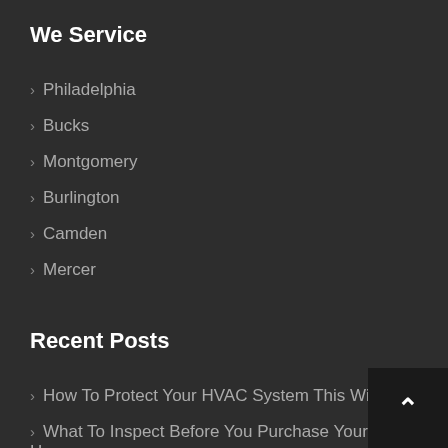We Service
Philadelphia
Bucks
Montgomery
Burlington
Camden
Mercer
Recent Posts
How To Protect Your HVAC System This Winter
What To Inspect Before You Purchase Your New Home
Air Dynamics HVAC | Best HVAC Services | Levittown, PA